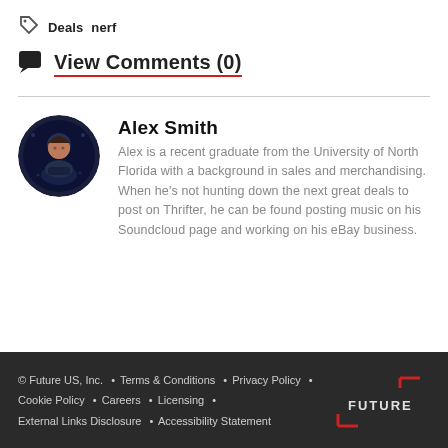Deals  nerf
View Comments (0)
Alex Smith
Alex is a recent graduate from the University of North Florida with a background in sales and merchandising. When he's not hunting down the next great deals to post on Thrifter, he can be found posting music on his Soundcloud page and working on his eBay business.
© Future US, Inc. • Terms & Conditions • Privacy Policy • Cookie Policy • Careers • Licensing • External Links Disclosure • Accessibility Statement